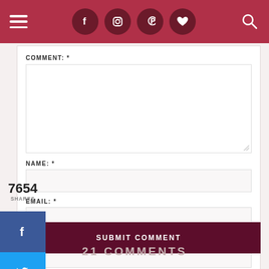Navigation bar with hamburger menu, social icons (Facebook, Instagram, Pinterest, heart), and search icon
COMMENT: *
NAME: *
EMAIL: *
WEBSITE: *
SUBMIT COMMENT
7654
SHARES
21 COMMENTS